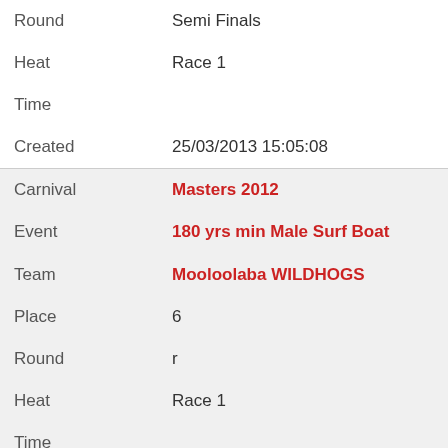| Round | Semi Finals |
| Heat | Race 1 |
| Time |  |
| Created | 25/03/2013 15:05:08 |
| Carnival | Masters 2012 |
| Event | 180 yrs min Male Surf Boat |
| Team | Mooloolaba WILDHOGS |
| Place | 6 |
| Round | r |
| Heat | Race 1 |
| Time |  |
| Created | 25/03/2013 15:05:11 |
| Carnival | Australian 2007 |
| Event | U19 Mixed Single Ski Relay |